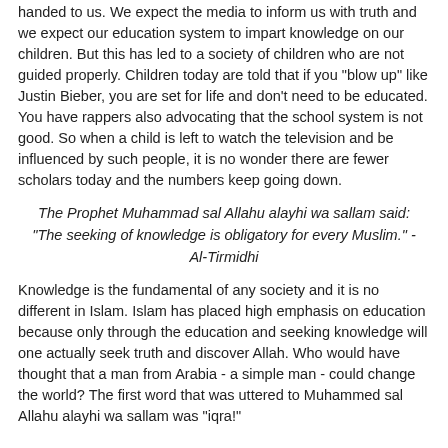handed to us. We expect the media to inform us with truth and we expect our education system to impart knowledge on our children. But this has led to a society of children who are not guided properly. Children today are told that if you "blow up" like Justin Bieber, you are set for life and don't need to be educated. You have rappers also advocating that the school system is not good. So when a child is left to watch the television and be influenced by such people, it is no wonder there are fewer scholars today and the numbers keep going down.
The Prophet Muhammad sal Allahu alayhi wa sallam said: "The seeking of knowledge is obligatory for every Muslim." - Al-Tirmidhi
Knowledge is the fundamental of any society and it is no different in Islam. Islam has placed high emphasis on education because only through the education and seeking knowledge will one actually seek truth and discover Allah. Who would have thought that a man from Arabia - a simple man - could change the world? The first word that was uttered to Muhammed sal Allahu alayhi wa sallam was "iqra!"